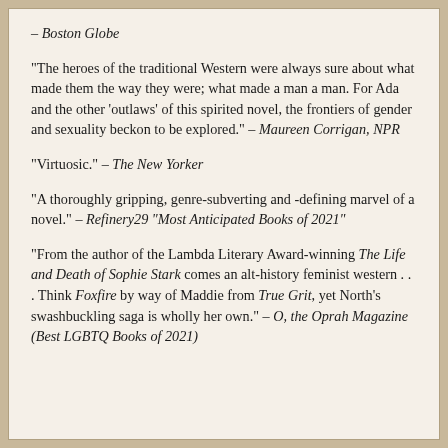– Boston Globe
"The heroes of the traditional Western were always sure about what made them the way they were; what made a man a man. For Ada and the other 'outlaws' of this spirited novel, the frontiers of gender and sexuality beckon to be explored." – Maureen Corrigan, NPR
"Virtuosic." – The New Yorker
"A thoroughly gripping, genre-subverting and -defining marvel of a novel." – Refinery29 “Most Anticipated Books of 2021”
"From the author of the Lambda Literary Award-winning The Life and Death of Sophie Stark comes an alt-history feminist western . . . Think Foxfire by way of Maddie from True Grit, yet North's swashbuckling saga is wholly her own." – O, the Oprah Magazine (Best LGBTQ Books of 2021)